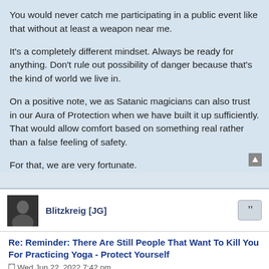You would never catch me participating in a public event like that without at least a weapon near me.
It's a completely different mindset. Always be ready for anything. Don't rule out possibility of danger because that's the kind of world we live in.
On a positive note, we as Satanic magicians can also trust in our Aura of Protection when we have built it up sufficiently. That would allow comfort based on something real rather than a false feeling of safety.
For that, we are very fortunate.
Blitzkreig [JG]
Re: Reminder: There Are Still People That Want To Kill You For Practicing Yoga - Protect Yourself
Wed Jun 22, 2022 7:42 pm
Fanboy wrote: †